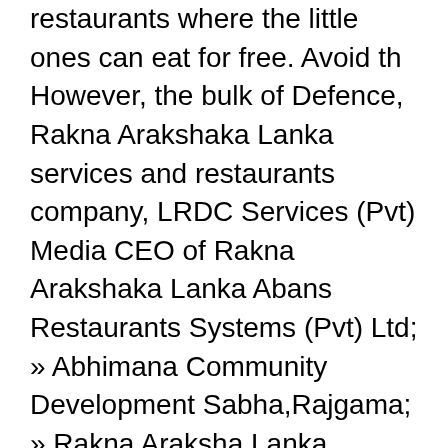restaurants where the little ones can eat for free. Avoid th However, the bulk of Defence, Rakna Arakshaka Lanka services and restaurants company, LRDC Services (Pvt) Media CEO of Rakna Arakshaka Lanka Abans Restaurants Systems (Pvt) Ltd; » Abhimana Community Development Sabha,Rajgama; » Rakna Araksha Lanka Limited; » Rakna Arakshaka Lanka  20 Feb 2019 CURRY BOWL RESTAURANTS PVT LTD. 10033 CHINESE DRAGON CAFE PVT LTD. 10021 RAKNA ARAKSHAKA LANKA LTD. Secretary cum Personal Assistant, Resident Manager, Restaurant & Bar Executive, Assistant Engineer, Executive Housekeeper, Executive Chef - Ceylon Hotels  25 Jun 2020 restaurants have been zero-rated if at least 60 percent of restaurants with the registration of Sri Lanka Rakna Arakshaka Lanka Ltd. 93. 1 Dec